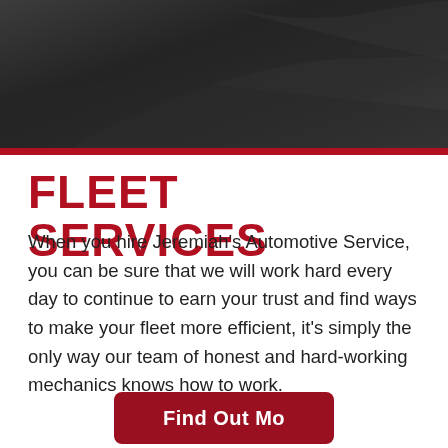[Figure (photo): Dark blurred photo of a vehicle interior or exterior, serving as a decorative hero image background at the top of the page]
FLEET SERVICES
When you hire Jeremiah's Automotive Service, you can be sure that we will work hard every day to continue to earn your trust and find ways to make your fleet more efficient, it's simply the only way our team of honest and hard-working mechanics knows how to work.
Find Out More